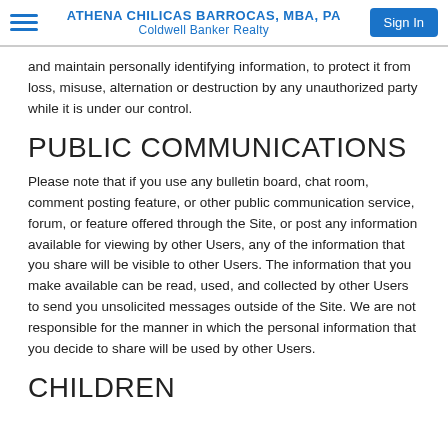ATHENA CHILICAS BARROCAS, MBA, PA | Coldwell Banker Realty | Sign In
and maintain personally identifying information, to protect it from loss, misuse, alternation or destruction by any unauthorized party while it is under our control.
PUBLIC COMMUNICATIONS
Please note that if you use any bulletin board, chat room, comment posting feature, or other public communication service, forum, or feature offered through the Site, or post any information available for viewing by other Users, any of the information that you share will be visible to other Users. The information that you make available can be read, used, and collected by other Users to send you unsolicited messages outside of the Site. We are not responsible for the manner in which the personal information that you decide to share will be used by other Users.
CHILDREN